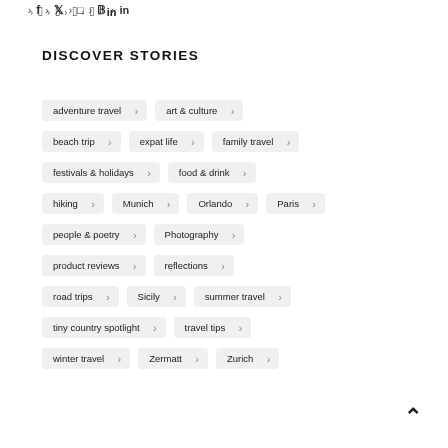> [facebook] > [twitter] > [instagram] > [pinterest] > in
DISCOVER STORIES
adventure travel
art & culture
beach trip
expat life
family travel
festivals & holidays
food & drink
hiking
Munich
Orlando
Paris
people & poetry
Photography
product reviews
reflections
road trips
Sicily
summer travel
tiny country spotlight
travel tips
winter travel
Zermatt
Zurich